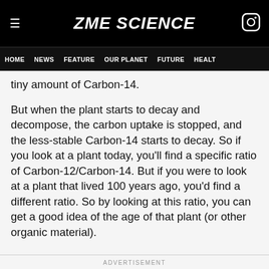ZME SCIENCE
HOME NEWS FEATURE OUR PLANET FUTURE HEALT
tiny amount of Carbon-14.
But when the plant starts to decay and decompose, the carbon uptake is stopped, and the less-stable Carbon-14 starts to decay. So if you look at a plant today, you'll find a specific ratio of Carbon-12/Carbon-14. But if you were to look at a plant that lived 100 years ago, you'd find a different ratio. So by looking at this ratio, you can get a good idea of the age of that plant (or other organic material).
ADVERTISEMENT